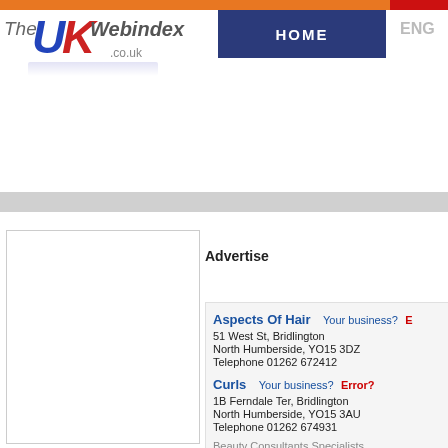The UK Webindex .co.uk — HOME navigation
Advertise
Aspects Of Hair  Your business?  E...
51 West St,  Bridlington
North Humberside, YO15 3DZ
Telephone 01262 672412
Curls  Your business?  Error?
1B Ferndale Ter,  Bridlington
North Humberside, YO15 3AU
Telephone 01262 674931
Beauty Consultants Specialists
Essentials  Your business?  Error?
Bello Vue House/Bello Vue/Tennyson Av...